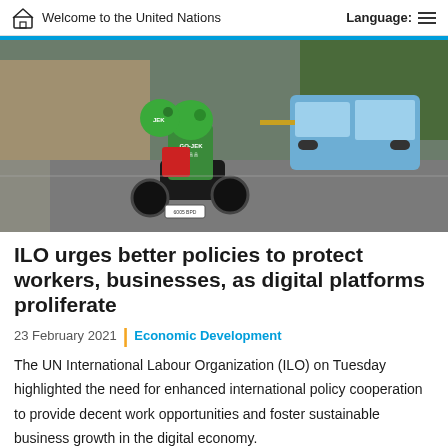Welcome to the United Nations | Language:
[Figure (photo): Two motorcycle riders wearing green Go-Jek helmets and jackets on a city street, with a blue van passing in the background.]
ILO urges better policies to protect workers, businesses, as digital platforms proliferate
23 February 2021 | Economic Development
The UN International Labour Organization (ILO) on Tuesday highlighted the need for enhanced international policy cooperation to provide decent work opportunities and foster sustainable business growth in the digital economy.